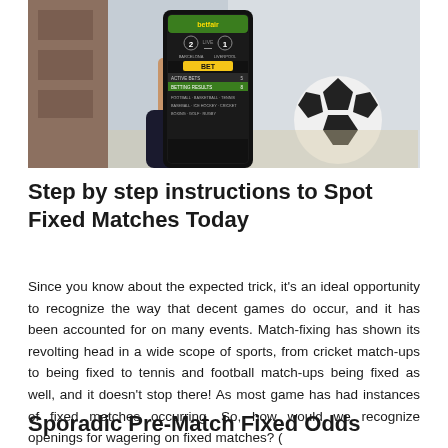[Figure (photo): A hand holding a smartphone displaying a sports betting app with Barcelona vs Liverpool score (2-1) and a BET button, with a soccer ball blurred in the background]
Step by step instructions to Spot Fixed Matches Today
Since you know about the expected trick, it's an ideal opportunity to recognize the way that decent games do occur, and it has been accounted for on many events. Match-fixing has shown its revolting head in a wide scope of sports, from cricket match-ups to being fixed to tennis and football match-ups being fixed as well, and it doesn't stop there! As most game has had instances of fixed matches occurring. So, how would we recognize openings for wagering on fixed matches? (
Sporadic Pre-Match Fixed Odds